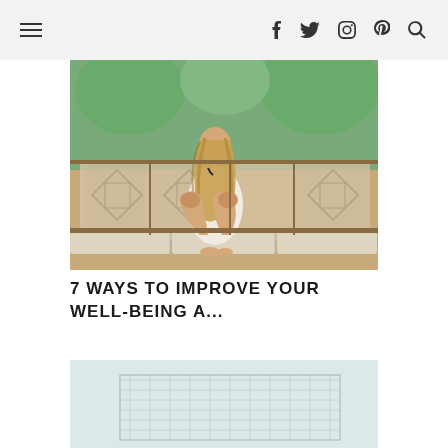Navigation bar with hamburger menu and social icons: Facebook, Twitter, Instagram, Pinterest, Search
[Figure (photo): A woman with long blonde hair sits on a window seat with her back to the camera, looking out a window with geometric stained glass panels. Tropical palm trees are visible outside. She wears a white top and her legs are pulled up.]
7 WAYS TO IMPROVE YOUR WELL-BEING A...
[Figure (photo): Partial view of a light-colored image with a grid/notebook pattern visible in the lower left portion, light blue-grey background.]